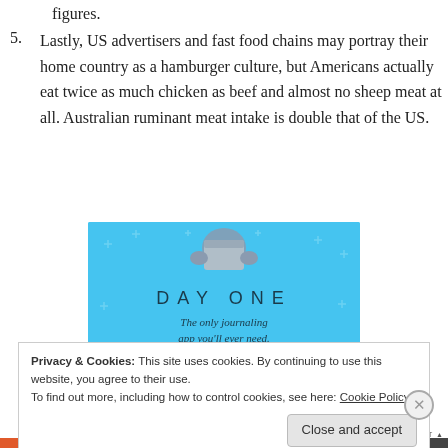figures.
5. Lastly, US advertisers and fast food chains may portray their home country as a hamburger culture, but Americans actually eat twice as much chicken as beef and almost no sheep meat at all. Australian ruminant meat intake is double that of the US.
[Figure (illustration): Advertisement for 'Day One' journaling app on a light blue background with small decorative plus signs. Shows an illustration of hands holding a box/package at the top, large spaced text 'DAY ONE', and tagline 'The only journaling app you'll ever need.']
Privacy & Cookies: This site uses cookies. By continuing to use this website, you agree to their use.
To find out more, including how to control cookies, see here: Cookie Policy
Close and accept